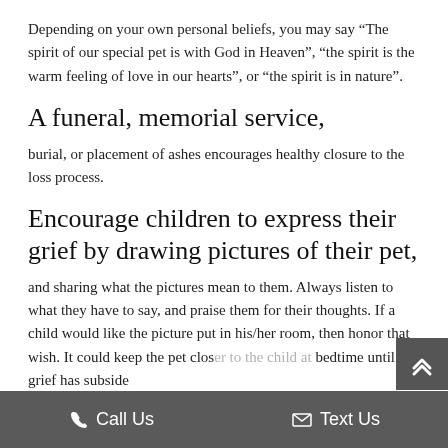Depending on your own personal beliefs, you may say “The spirit of our special pet is with God in Heaven”, “the spirit is the warm feeling of love in our hearts”, or “the spirit is in nature”.
A funeral, memorial service,
burial, or placement of ashes encourages healthy closure to the loss process.
Encourage children to express their grief by drawing pictures of their pet,
and sharing what the pictures mean to them. Always listen to what they have to say, and praise them for their thoughts. If a child would like the picture put in his/her room, then honor that wish. It could keep the pet closer to the child at bedtime until the grief has subside